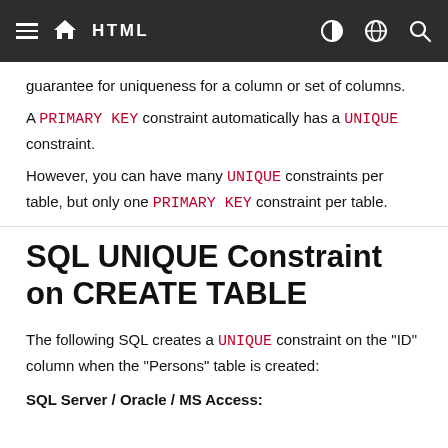HTML
guarantee for uniqueness for a column or set of columns.
A PRIMARY KEY constraint automatically has a UNIQUE constraint.
However, you can have many UNIQUE constraints per table, but only one PRIMARY KEY constraint per table.
SQL UNIQUE Constraint on CREATE TABLE
The following SQL creates a UNIQUE constraint on the "ID" column when the "Persons" table is created:
SQL Server / Oracle / MS Access: